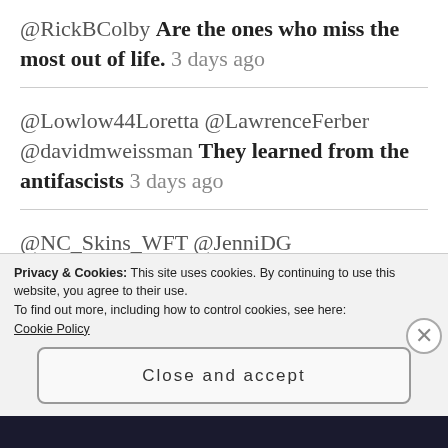@RickBColby Are the ones who miss the most out of life. 3 days ago
@Lowlow44Loretta @LawrenceFerber @davidmweissman They learned from the antifascists 3 days ago
@NC_Skins_WFT @JenniDG @davidmweissman @IngrahamAngle I trust pop culture media to tell me what I should be concerned about 🐻🌎
Privacy & Cookies: This site uses cookies. By continuing to use this website, you agree to their use.
To find out more, including how to control cookies, see here:
Cookie Policy
Close and accept